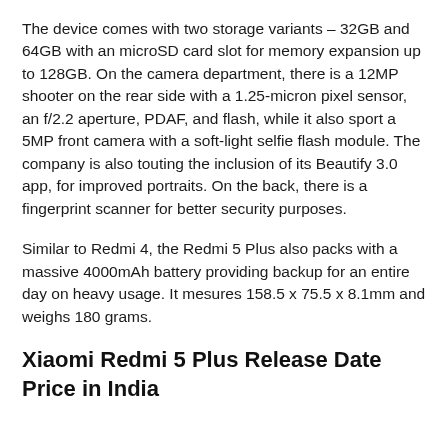The device comes with two storage variants – 32GB and 64GB with an microSD card slot for memory expansion up to 128GB. On the camera department, there is a 12MP shooter on the rear side with a 1.25-micron pixel sensor, an f/2.2 aperture, PDAF, and flash, while it also sport a 5MP front camera with a soft-light selfie flash module. The company is also touting the inclusion of its Beautify 3.0 app, for improved portraits. On the back, there is a fingerprint scanner for better security purposes.
Similar to Redmi 4, the Redmi 5 Plus also packs with a massive 4000mAh battery providing backup for an entire day on heavy usage. It mesures 158.5 x 75.5 x 8.1mm and weighs 180 grams.
Xiaomi Redmi 5 Plus Release Date Price in India